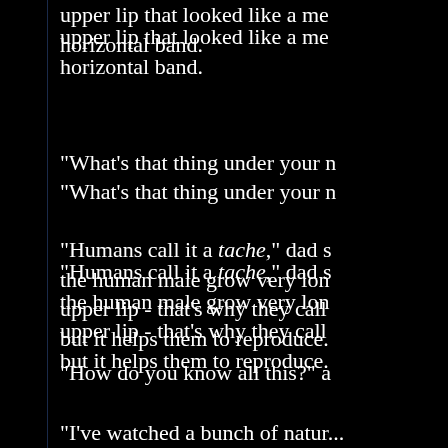upper lip that looked like a me horizontal band.
"What's that thing under your n
"Humans call it a tache," dad s the human male grow very lon upper lip - that's why they call but it helps them to reproduce.
"How do you know all this?" a
"I've watched a bunch of natur fascinating how the male alwa they mate. First, the male mak household chore that he's just a naked, and they mate."